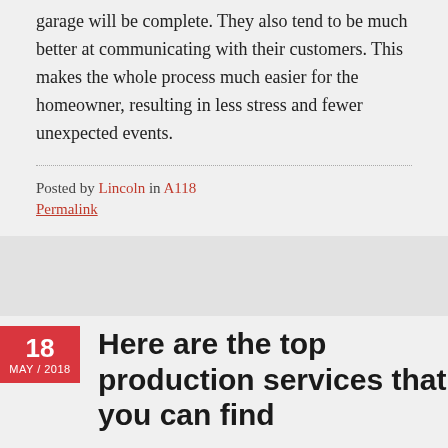garage will be complete. They also tend to be much better at communicating with their customers. This makes the whole process much easier for the homeowner, resulting in less stress and fewer unexpected events.
Posted by Lincoln in A118
Permalink
Here are the top production services that you can find